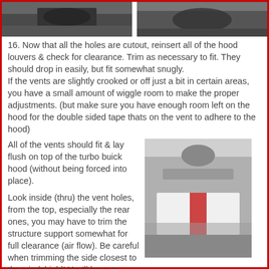[Figure (photo): Two photographs side by side at the top of the page showing a dark hood surface]
16. Now that all the holes are cutout, reinsert all of the hood louvers & check for clearance. Trim as necessary to fit. They should drop in easily, but fit somewhat snugly.
If the vents are slightly crooked or off just a bit in certain areas, you have a small amount of wiggle room to make the proper adjustments. (but make sure you have enough room left on the hood for the double sided tape thats on the vent to adhere to the hood)
All of the vents should fit & lay flush on top of the turbo buick hood (without being forced into place).
[Figure (photo): Photo of a car hood interior showing white vent pieces laid in place on a dark surface]
Look inside (thru) the vent holes, from the top, especially the rear ones, you may have to trim the structure support somewhat for full clearance (air flow). Be careful when trimming the side closest to the windshield! You'll have to strike a balance here between form & function, since